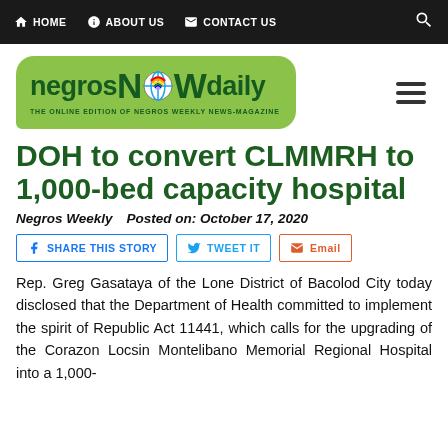HOME   ABOUT US   CONTACT US
[Figure (logo): Negros NOW daily logo - green speech bubble with text 'negros NOW daily - THE ONLINE EDITION OF NEGROS WEEKLY NEWS-MAGAZINE']
DOH to convert CLMMRH to 1,000-bed capacity hospital
Negros Weekly   Posted on: October 17, 2020
SHARE THIS STORY   TWEET IT   Email
Rep. Greg Gasataya of the Lone District of Bacolod City today disclosed that the Department of Health committed to implement the spirit of Republic Act 11441, which calls for the upgrading of the Corazon Locsin Montelibano Memorial Regional Hospital into a 1,000-